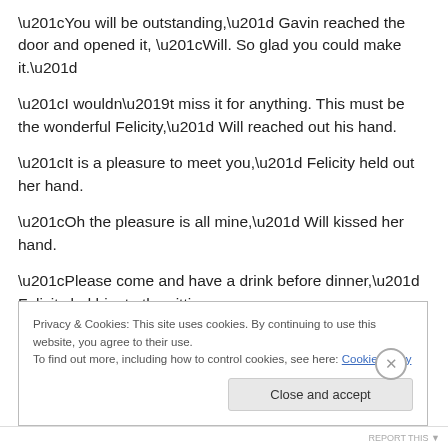“You will be outstanding,” Gavin reached the door and opened it, “Will.  So glad you could make it.”
“I wouldn’t miss it for anything.  This must be the wonderful Felicity,” Will reached out his hand.
“It is a pleasure to meet you,” Felicity held out her hand.
“Oh the pleasure is all mine,” Will kissed her hand.
“Please come and have a drink before dinner,” Felicity led him to the sitting room.
Privacy & Cookies: This site uses cookies. By continuing to use this website, you agree to their use.
To find out more, including how to control cookies, see here: Cookie Policy
Close and accept